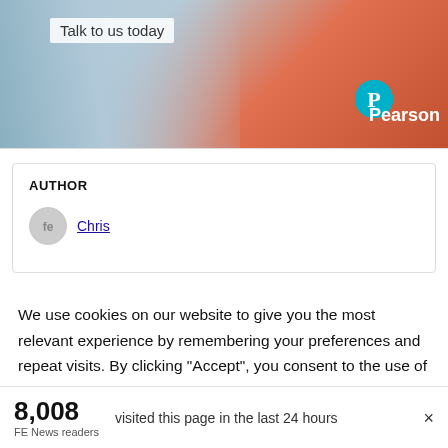[Figure (photo): Pearson advertisement banner showing two people studying together with text 'Talk to us today' and Pearson logo]
AUTHOR
Chris
We use cookies on our website to give you the most relevant experience by remembering your preferences and repeat visits. By clicking “Accept”, you consent to the use of ALL the cookies. However you may visit Cookie Settings to provide a controlled consent. Read More
8,008 visited this page in the last 24 hours
FE News readers